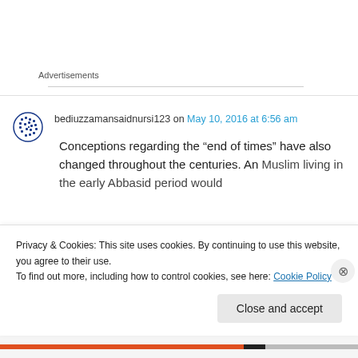Advertisements
bediuzzamansaidnursi123 on May 10, 2016 at 6:56 am
Conceptions regarding the “end of times” have also changed throughout the centuries. An Muslim living in the early Abbasid period would
Privacy & Cookies: This site uses cookies. By continuing to use this website, you agree to their use.
To find out more, including how to control cookies, see here: Cookie Policy
Close and accept